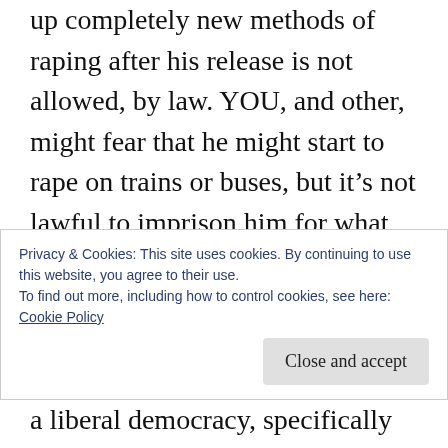up completely new methods of raping after his release is not allowed, by law. YOU, and other, might fear that he might start to rape on trains or buses, but it’s not lawful to imprison him for what some people think he might do in the future.

You shouldn’t take the word of someone who works in offender management, for two reasons. Firstly, they have a vested
Privacy & Cookies: This site uses cookies. By continuing to use this website, you agree to their use.
To find out more, including how to control cookies, see here: Cookie Policy
a liberal democracy, specifically Marxist